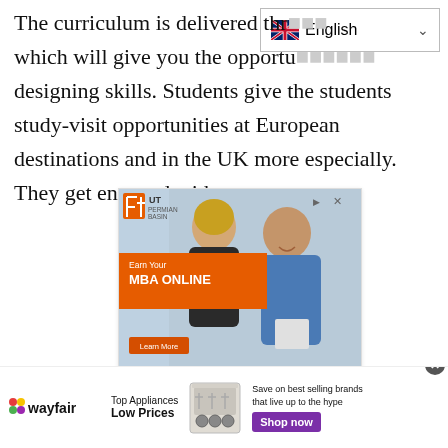The curriculum is delivered through which will give you the opportunity to apply designing skills. Students give the students study-visit opportunities at European destinations and in the UK more especially. They get engaged with
[Figure (screenshot): Language selector widget showing English with UK flag]
[Figure (screenshot): Advertisement for UT Permian Basin MBA Online program. Shows two professionals looking at a tablet, orange banner saying 'Earn Your MBA ONLINE', a Learn More button, and text below reading 'Ranked Best Buy MBA Program'.]
[Figure (screenshot): Advertisement for Wayfair: 'Top Appliances Low Prices', 'Save on best selling brands that live up to the hype', with a Shop now button and appliance image.]